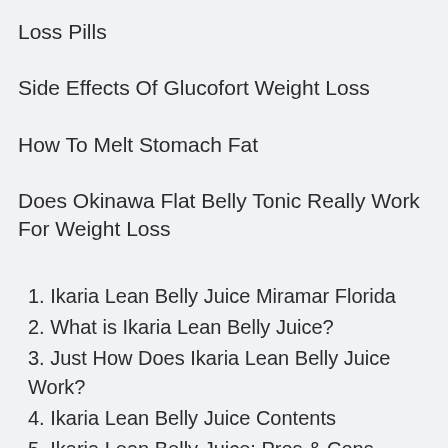Loss Pills
Side Effects Of Glucofort Weight Loss
How To Melt Stomach Fat
Does Okinawa Flat Belly Tonic Really Work For Weight Loss
1. Ikaria Lean Belly Juice Miramar Florida
2. What is Ikaria Lean Belly Juice?
3. Just How Does Ikaria Lean Belly Juice Work?
4. Ikaria Lean Belly Juice Contents
5. Ikaria Lean Belly Juice: Pros & Cons
6. Where To Buy Ikaria Lean Belly Juice For